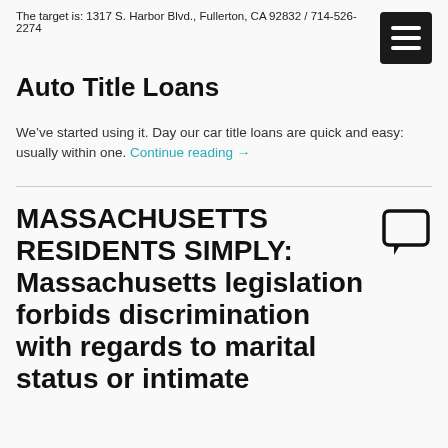The target is: 1317 S. Harbor Blvd., Fullerton, CA 92832 / 714-526-2274
Auto Title Loans
We’ve started using it. Day our car title loans are quick and easy: usually within one. Continue reading →
MASSACHUSETTS RESIDENTS SIMPLY: Massachusetts legislation forbids discrimination with regards to marital status or intimate